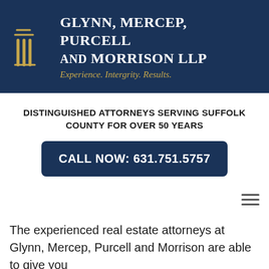[Figure (logo): Law firm logo banner with column icon and firm name: GLYNN, MERCEP, PURCELL AND MORRISON LLP with tagline Experience. Intergrity. Results.]
DISTINGUISHED ATTORNEYS SERVING SUFFOLK COUNTY FOR OVER 50 YEARS
CALL NOW: 631.751.5757
The experienced real estate attorneys at Glynn, Mercep, Purcell and Morrison are able to give you